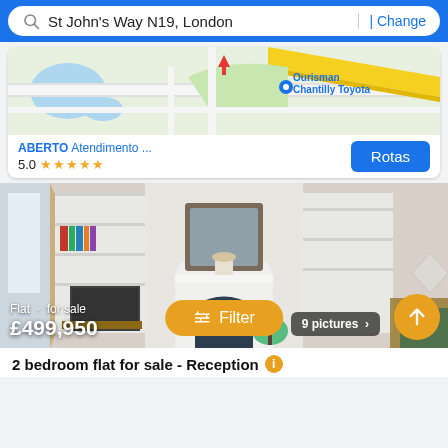St John's Way N19, London | Change
[Figure (map): Google Maps view showing road map with pin marker and Ourisman Chantilly Toyota location label]
ABERTO  Atendimento ...
5.0 ★★★★★
Rotas
[Figure (photo): Interior photo of a flat showing a living room with white shelves, TV on wooden stand, fireplace with arched surround, mirror above mantelpiece, and built-in bookshelves]
9 pictures >
Flat · for sale
£499,950
⚙ Filter
2 bedroom flat for sale - Reception